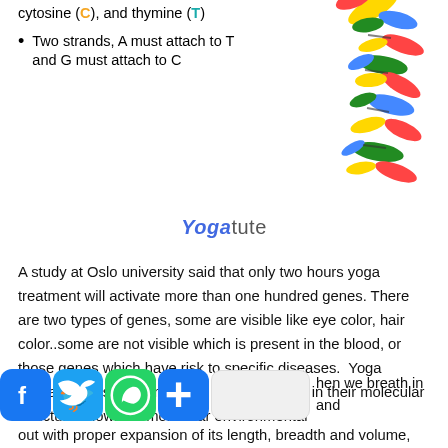cytosine (C), and thymine (T)
Two strands, A must attach to T and G must attach to C
[Figure (illustration): Colorful 3D molecular model of DNA double helix structure with red, green, blue, and yellow components]
Yogatute
A study at Oslo university said that only two hours yoga treatment will activate more than one hundred genes. There are two types of genes, some are visible like eye color, hair color..some are not visible which is present in the blood, or those genes which have risk to specific diseases.  Yoga activates invisible genes and lead to change in their molecular structure known as molecular environmental a h hen we breath in and out with proper expansion of its length, breadth and volume,